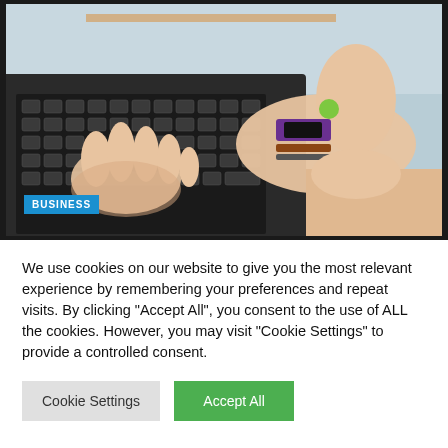[Figure (photo): Close-up photo of hands typing on a laptop keyboard. One hand wears a purple fitness tracker and bracelet. A 'BUSINESS' label badge is overlaid at bottom-left of the image.]
We use cookies on our website to give you the most relevant experience by remembering your preferences and repeat visits. By clicking "Accept All", you consent to the use of ALL the cookies. However, you may visit "Cookie Settings" to provide a controlled consent.